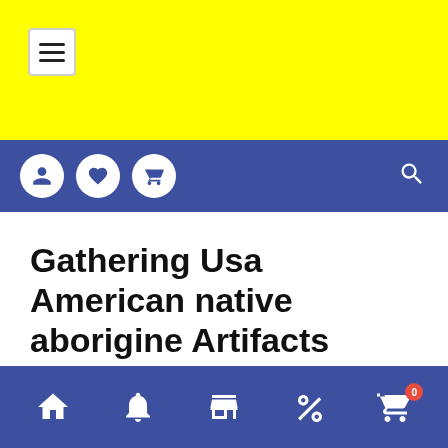Menu hamburger button on yellow background
Navigation bar with user, heart, cart icons and search
Gathering Usa American native aborigine Artifacts
Pet Center - 18/08/2020 - Main - 0 Comentários
Bottom navigation bar with home, bell, store, percent, cart icons